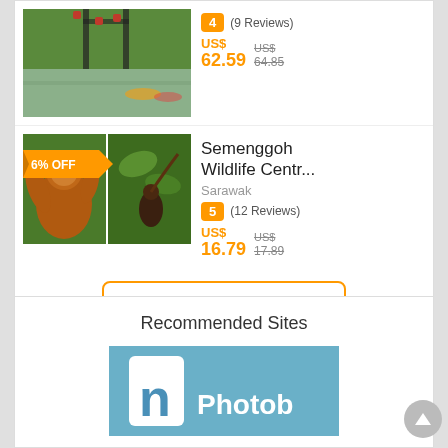[Figure (photo): Top listing: river/mangrove area photo, partially visible]
4 (9 Reviews)
US$ 62.59  US$ 64.85
[Figure (photo): Semenggoh Wildlife Centre listing: two photos of orangutan in jungle, with 6% OFF badge]
Semenggoh Wildlife Centr...
Sarawak
5 (12 Reviews)
US$ 16.79  US$ 17.89
View More
Powered by KLOOK
Recommended Sites
[Figure (logo): Photobooth logo partially visible at bottom]